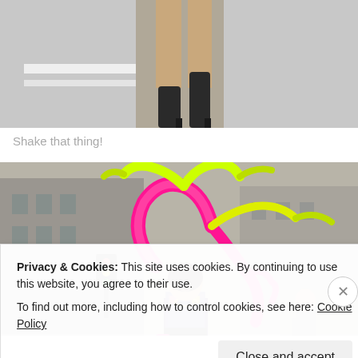[Figure (photo): Cropped bottom portion of a photo showing legs and feet of a person walking on a street, wearing dark heeled boots, with street markings visible.]
Shake that thing!
[Figure (photo): A woman in a colorful carnival/pride parade costume with bright pink and yellow feather headdress and accessories, dancing in the street. Spectators line the barricades in the background. City buildings visible.]
Privacy & Cookies: This site uses cookies. By continuing to use this website, you agree to their use.
To find out more, including how to control cookies, see here: Cookie Policy
Close and accept